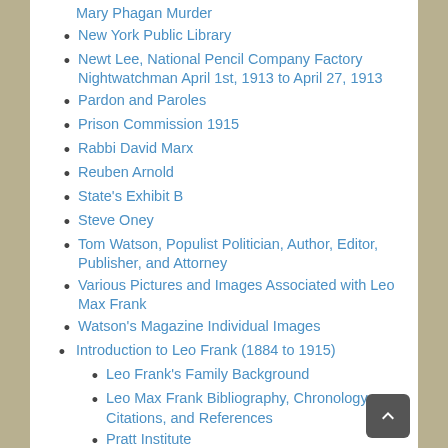Mary Phagan Murder
New York Public Library
Newt Lee, National Pencil Company Factory Nightwatchman April 1st, 1913 to April 27, 1913
Pardon and Paroles
Prison Commission 1915
Rabbi David Marx
Reuben Arnold
State's Exhibit B
Steve Oney
Tom Watson, Populist Politician, Author, Editor, Publisher, and Attorney
Various Pictures and Images Associated with Leo Max Frank
Watson's Magazine Individual Images
Introduction to Leo Frank (1884 to 1915)
Leo Frank's Family Background
Leo Max Frank Bibliography, Chronology, Citations, and References
Pratt Institute
The College Years of Leo Max Frank at His Alma Mater Cornell University 1902 to 1906 in Ithaca, New York, and Brief Employment Experiences
The High School Years of Leo Max Frank...